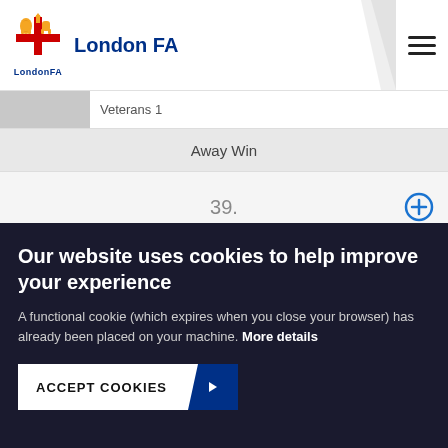London FA
Veterans 1
Away Win
39.
11/04/21   12:30
Anatolians First   1 - 3   West Fulham
Our website uses cookies to help improve your experience
A functional cookie (which expires when you close your browser) has already been placed on your machine. More details
ACCEPT COOKIES